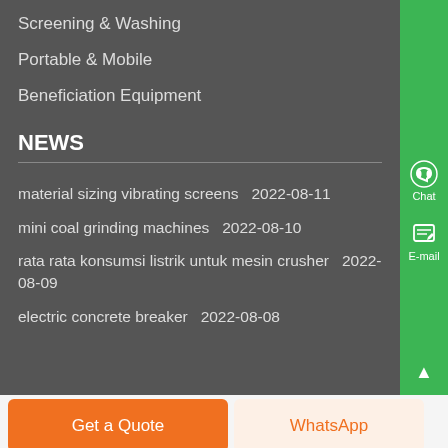Screening & Washing
Portable & Mobile
Beneficiation Equipment
NEWS
material sizing vibrating screens  2022-08-11
mini coal grinding machines  2022-08-10
rata rata konsumsi listrik untuk mesin crusher  2022-08-09
electric concrete breaker  2022-08-08